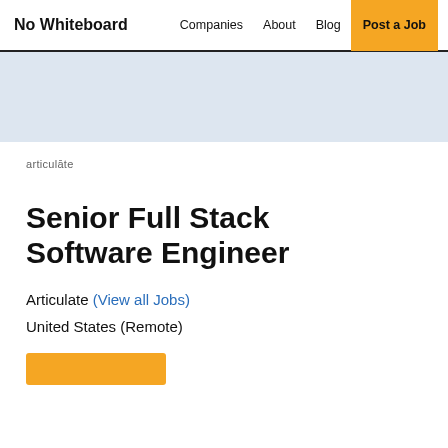No Whiteboard | Companies | About | Blog | Post a Job
[Figure (logo): articulate company logo text]
Senior Full Stack Software Engineer
Articulate (View all Jobs)
United States (Remote)